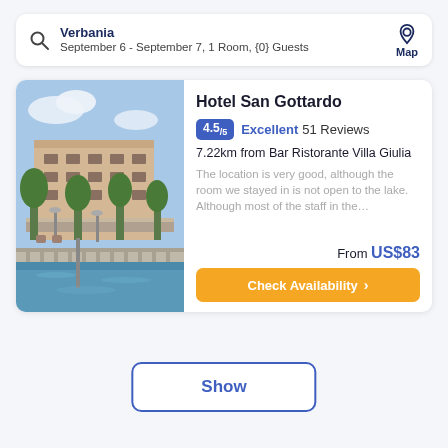Verbania
September 6 - September 7, 1 Room, {0} Guests
Map
Hotel San Gottardo
4.5/5  Excellent 51 Reviews
7.22km from Bar Ristorante Villa Giulia
The location is very good, although the room we stayed in is not open to the lake. Although most of the staff in the…
From US$83
Check Availability >
[Figure (photo): Hotel San Gottardo building on the lakeside in Verbania, with trees and waterfront visible]
Show